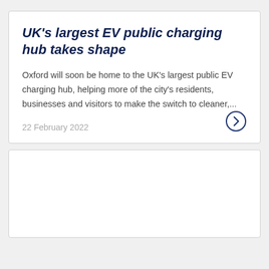UK’s largest EV public charging hub takes shape
Oxford will soon be home to the UK’s largest public EV charging hub, helping more of the city's residents, businesses and visitors to make the switch to cleaner,...
22 February 2022